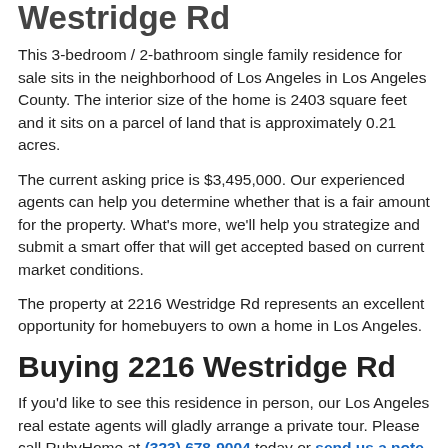Westridge Rd
This 3-bedroom / 2-bathroom single family residence for sale sits in the neighborhood of Los Angeles in Los Angeles County. The interior size of the home is 2403 square feet and it sits on a parcel of land that is approximately 0.21 acres.
The current asking price is $3,495,000. Our experienced agents can help you determine whether that is a fair amount for the property. What's more, we'll help you strategize and submit a smart offer that will get accepted based on current market conditions.
The property at 2216 Westridge Rd represents an excellent opportunity for homebuyers to own a home in Los Angeles.
Buying 2216 Westridge Rd
If you'd like to see this residence in person, our Los Angeles real estate agents will gladly arrange a private tour. Please call RubyHome at (323) 678-9004 today or send us a note.
If you are looking to sell your home at 2216 Westridge Rd...